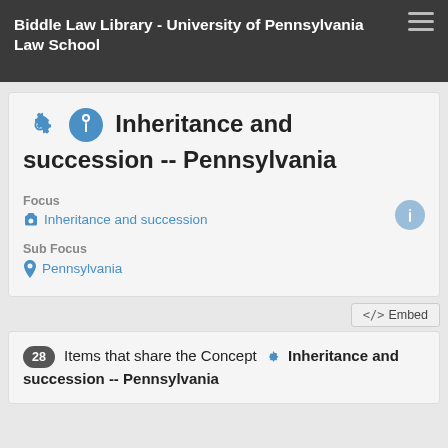Biddle Law Library - University of Pennsylvania Law School
Inheritance and succession -- Pennsylvania
Focus: Inheritance and succession
Sub Focus: Pennsylvania
</> Embed
28 Items that share the Concept Inheritance and succession -- Pennsylvania